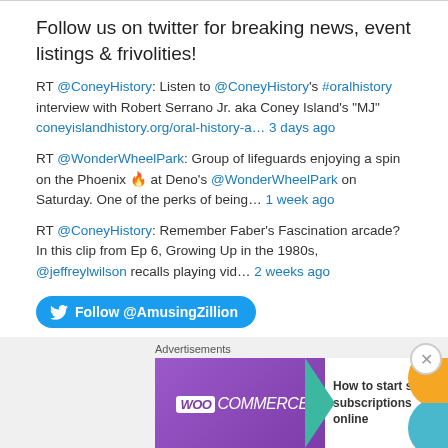Follow us on twitter for breaking news, event listings & frivolities!
RT @ConeyHistory: Listen to @ConeyHistory's #oralhistory interview with Robert Serrano Jr. aka Coney Island's "MJ" coneyislandhistory.org/oral-history-a… 3 days ago
RT @WonderWheelPark: Group of lifeguards enjoying a spin on the Phoenix 🔥 at Deno's @WonderWheelPark on Saturday. One of the perks of being… 1 week ago
RT @ConeyHistory: Remember Faber's Fascination arcade? In this clip from Ep 6, Growing Up in the 1980s, @jeffreylwilson recalls playing vid… 2 weeks ago
[Figure (other): Follow @AmusingZillion Twitter button and WooCommerce advertisement banner]